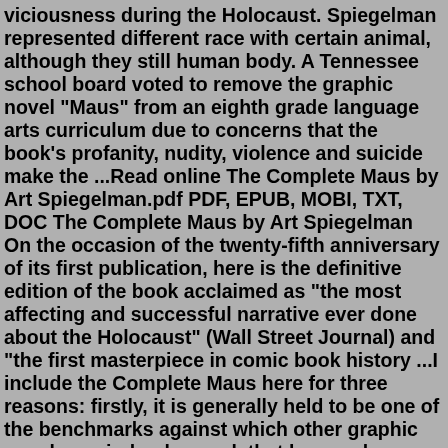viciousness during the Holocaust. Spiegelman represented different race with certain animal, although they still human body. A Tennessee school board voted to remove the graphic novel "Maus" from an eighth grade language arts curriculum due to concerns that the book's profanity, nudity, violence and suicide make the ...Read online The Complete Maus by Art Spiegelman.pdf PDF, EPUB, MOBI, TXT, DOC The Complete Maus by Art Spiegelman On the occasion of the twenty-fifth anniversary of its first publication, here is the definitive edition of the book acclaimed as "the most affecting and successful narrative ever done about the Holocaust" (Wall Street Journal) and "the first masterpiece in comic book history ...I include the Complete Maus here for three reasons: firstly, it is generally held to be one of the benchmarks against which other graphic novels are judged, a work that has made people who don't like comics read comics, and a pinnacle of achievement that Spiegelman has spent the last twenty years trying to either live up to, or get away